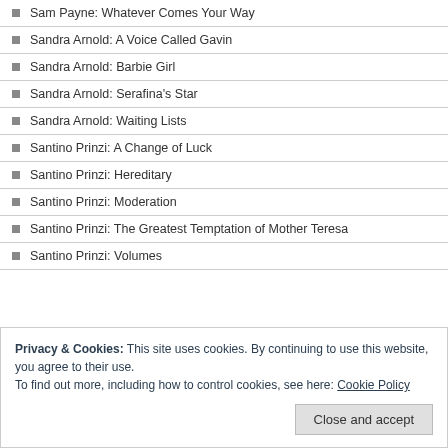Sam Payne: Whatever Comes Your Way
Sandra Arnold: A Voice Called Gavin
Sandra Arnold: Barbie Girl
Sandra Arnold: Serafina's Star
Sandra Arnold: Waiting Lists
Santino Prinzi: A Change of Luck
Santino Prinzi: Hereditary
Santino Prinzi: Moderation
Santino Prinzi: The Greatest Temptation of Mother Teresa
Santino Prinzi: Volumes
Privacy & Cookies: This site uses cookies. By continuing to use this website, you agree to their use.
To find out more, including how to control cookies, see here: Cookie Policy
Close and accept